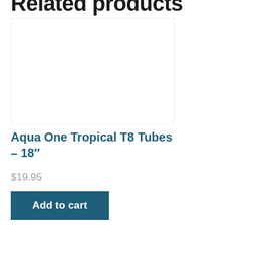Related products
[Figure (photo): Product image placeholder for Aqua One Tropical T8 Tubes – 18"]
Aqua One Tropical T8 Tubes – 18"
$19.95
Add to cart